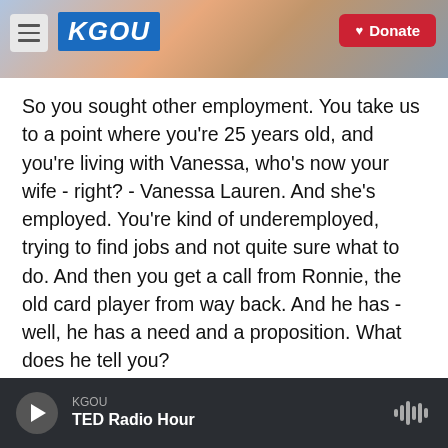[Figure (screenshot): KGOU radio website header with logo, hamburger menu, city background image, and red Donate button]
So you sought other employment. You take us to a point where you're 25 years old, and you're living with Vanessa, who's now your wife - right? - Vanessa Lauren. And she's employed. You're kind of underemployed, trying to find jobs and not quite sure what to do. And then you get a call from Ronnie, the old card player from way back. And he has - well, he has a need and a proposition. What does he tell you?
DELGAUDIO: Yeah, Ronnie had gotten in trouble with the law for violating probation that he had
KGOU  TED Radio Hour